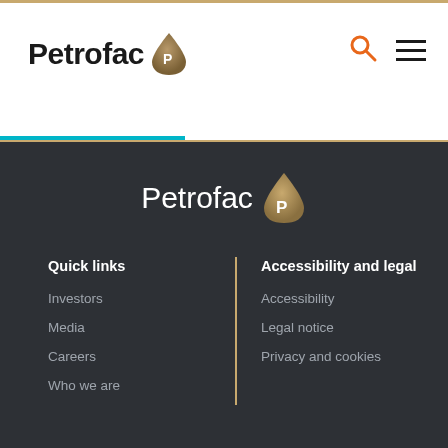[Figure (logo): Petrofac logo with drop icon in header navigation bar]
[Figure (logo): Petrofac logo with drop icon in dark footer area]
Quick links
Investors
Media
Careers
Who we are
Accessibility and legal
Accessibility
Legal notice
Privacy and cookies